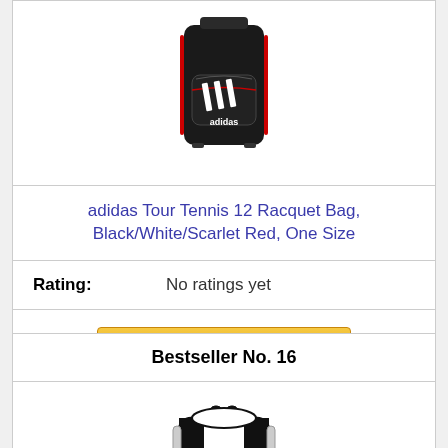[Figure (photo): Adidas Tour Tennis 12 Racquet Bag in black/white/scarlet red colorway with adidas logo visible]
adidas Tour Tennis 12 Racquet Bag, Black/White/Scarlet Red, One Size
Rating: No ratings yet
Check on Amazon
Bestseller No. 16
[Figure (photo): Black and white backpack/bag product photo]